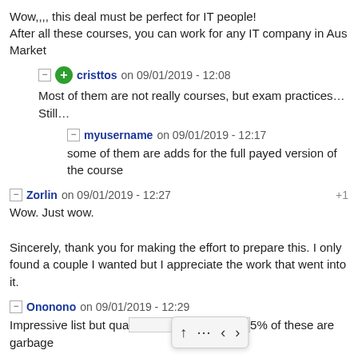Wow,,,, this deal must be perfect for IT people! After all these courses, you can work for any IT company in Aus Market
cristtos on 09/01/2019 - 12:08
Most of them are not really courses, but exam practices… Still…
myusername on 09/01/2019 - 12:17
some of them are adds for the full payed version of the course
Zorlin on 09/01/2019 - 12:27 +1
Wow. Just wow.

Sincerely, thank you for making the effort to prepare this. I only found a couple I wanted but I appreciate the work that went into it.
Ononono on 09/01/2019 - 12:29
Impressive list but qua… 5% of these are garbage